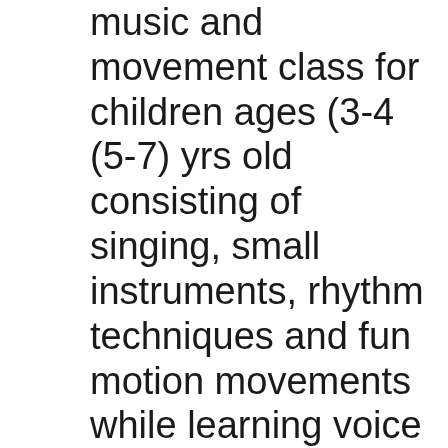music and movement class for children ages (3-4 (5-7) yrs old consisting of singing, small instruments, rhythm techniques and fun motion movements while learning voice and singing melodies and harmonies.